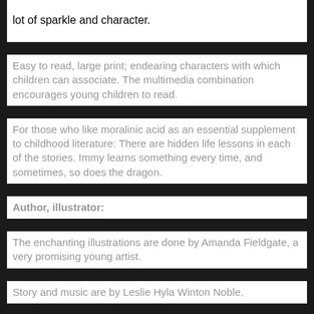lot of sparkle and character.
Easy to read, large print; endearing characters with which children can associate.  The multimedia combination encourages young children to read.
For those who like moralinic acid as an essential supplement to childhood literature:  There are hidden life lessons in each of the stories.  Immy learns something every time, and sometimes, so does the dragon.
Author, illustrator:
The enchanting illustrations are done by Amanda Fieldgate, a very promising young artist.
Story and music are by Leslie Hyla Winton Noble.